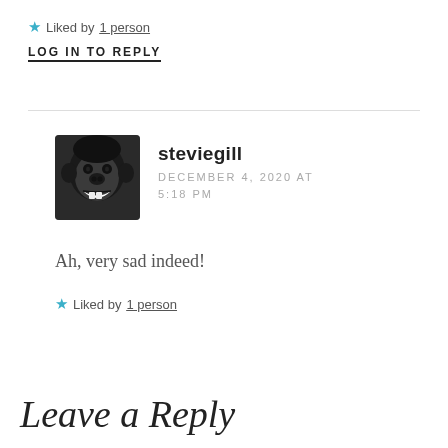★ Liked by 1 person
LOG IN TO REPLY
steviegill
DECEMBER 4, 2020 AT 5:18 PM
Ah, very sad indeed!
★ Liked by 1 person
Leave a Reply